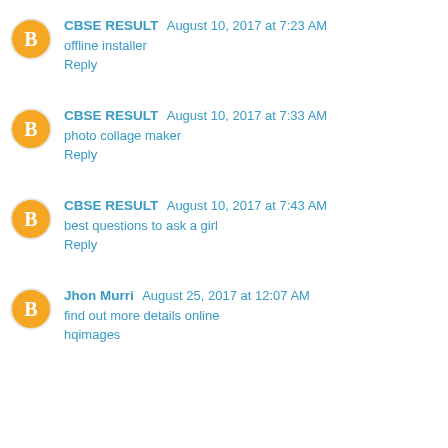CBSE RESULT August 10, 2017 at 7:23 AM
offline installer
Reply
CBSE RESULT August 10, 2017 at 7:33 AM
photo collage maker
Reply
CBSE RESULT August 10, 2017 at 7:43 AM
best questions to ask a girl
Reply
Jhon Murri August 25, 2017 at 12:07 AM
find out more details online
hqimages